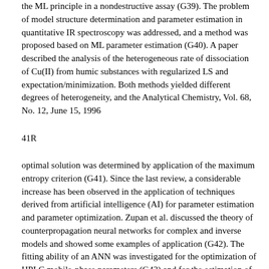the ML principle in a nondestructive assay (G39). The problem of model structure determination and parameter estimation in quantitative IR spectroscopy was addressed, and a method was proposed based on ML parameter estimation (G40). A paper described the analysis of the heterogeneous rate of dissociation of Cu(II) from humic substances with regularized LS and expectation/minimization. Both methods yielded different degrees of heterogeneity, and the Analytical Chemistry, Vol. 68, No. 12, June 15, 1996
41R
optimal solution was determined by application of the maximum entropy criterion (G41). Since the last review, a considerable increase has been observed in the application of techniques derived from artificial intelligence (AI) for parameter estimation and parameter optimization. Zupan et al. discussed the theory of counterpropagation neural networks for complex and inverse models and showed some examples of application (G42). The fitting ability of an ANN was investigated for the optimization of HPLC mobile-phase parameters (G43) and for the estimation of kinetic analytical parameters of first-order reactions (G44). In process control, an ANN was used for prediction of feedwater flow rates in a nuclear power plant, using reference instrument readings oriented (G45) that it contains a studied the modeling